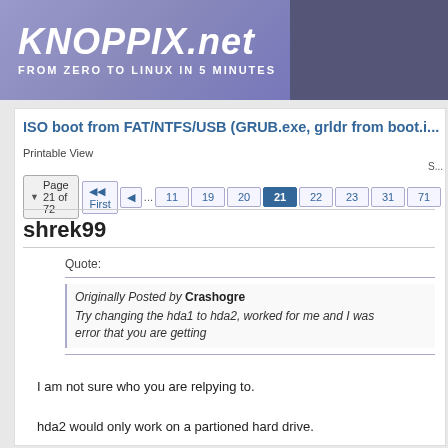KNOPPIX.net FROM ZERO TO LINUX IN 5 MINUTES
ISO boot from FAT/NTFS/USB (GRUB.exe, grldr from boot.i...
Printable View
Page 21 of 72  First  ... 11 19 20 21 22 23 31 71
shrek99
Quote:
Originally Posted by Crashogre
Try changing the hda1 to hda2, worked for me and I was error that you are getting
I am not sure who you are relpying to.
hda2 would only work on a partioned hard drive.